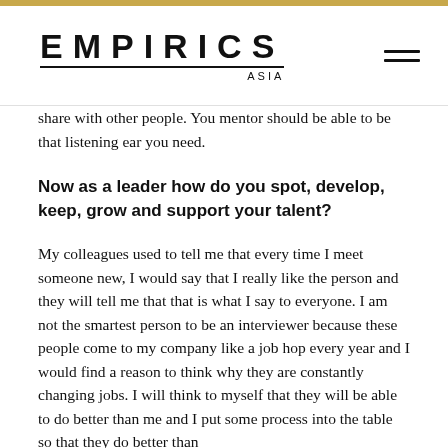EMPIRICS ASIA
share with other people. You mentor should be able to be that listening ear you need.
Now as a leader how do you spot, develop, keep, grow and support your talent?
My colleagues used to tell me that every time I meet someone new, I would say that I really like the person and they will tell me that that is what I say to everyone. I am not the smartest person to be an interviewer because these people come to my company like a job hop every year and I would find a reason to think why they are constantly changing jobs. I will think to myself that they will be able to do better than me and I put some process into the table so that they do better than everyone.